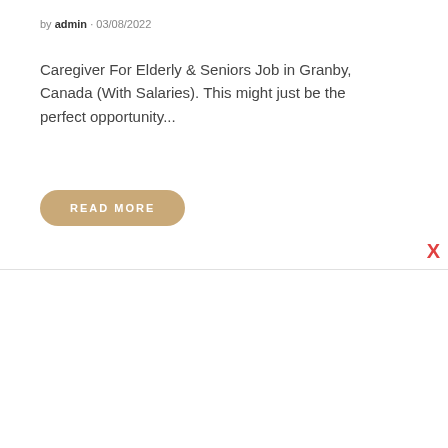by admin · 03/08/2022
Caregiver For Elderly & Seniors Job in Granby, Canada (With Salaries). This might just be the perfect opportunity...
READ MORE
X
j — JOBS
[Figure (photo): Two people in a cafe or bar setting: one person with back turned on left, and a smiling woman in pink/coral shirt on the right, behind a counter. Background shows equipment and warm-toned interior.]